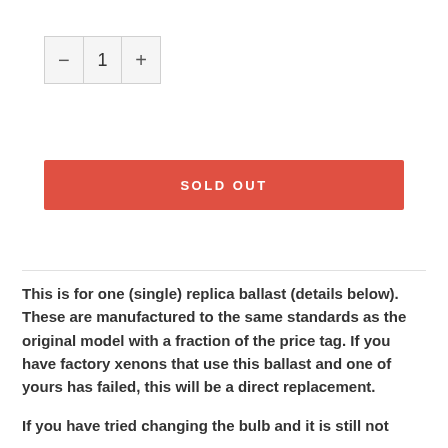[Figure (other): Quantity selector widget showing minus button, '1', and plus button in a bordered box]
SOLD OUT
This is for one (single) replica ballast (details below). These are manufactured to the same standards as the original model with a fraction of the price tag. If you have factory xenons that use this ballast and one of yours has failed, this will be a direct replacement.
If you have tried changing the bulb and it is still not